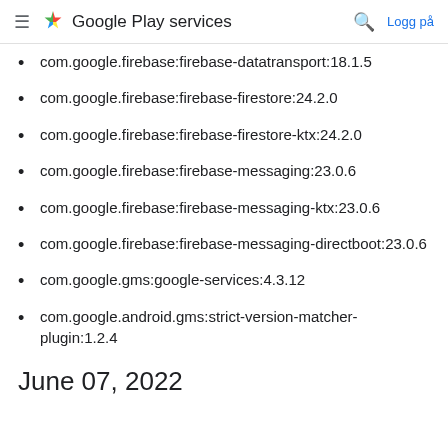Google Play services — Logg på
com.google.firebase:firebase-datatransport:18.1.5
com.google.firebase:firebase-firestore:24.2.0
com.google.firebase:firebase-firestore-ktx:24.2.0
com.google.firebase:firebase-messaging:23.0.6
com.google.firebase:firebase-messaging-ktx:23.0.6
com.google.firebase:firebase-messaging-directboot:23.0.6
com.google.gms:google-services:4.3.12
com.google.android.gms:strict-version-matcher-plugin:1.2.4
June 07, 2022